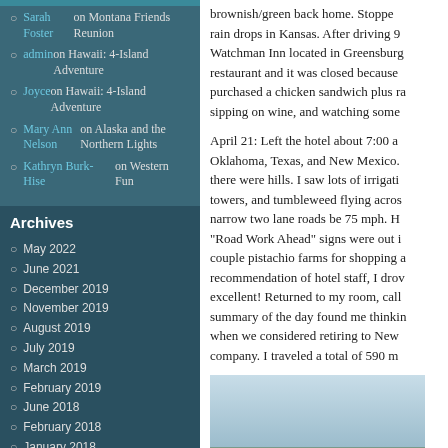Sarah Foster on Montana Friends Reunion
admin on Hawaii: 4-Island Adventure
Joyce on Hawaii: 4-Island Adventure
Mary Ann Nelson on Alaska and the Northern Lights
Kathryn Burk-Hise on Western Fun
Archives
May 2022
June 2021
December 2019
November 2019
August 2019
July 2019
March 2019
February 2019
June 2018
February 2018
January 2018
October 2017
May 2017
April 2017
March 2017
February 2017
brownish/green back home. Stopped. rain drops in Kansas. After driving 9 Watchman Inn located in Greensburg restaurant and it was closed because purchased a chicken sandwich plus ra sipping on wine, and watching some

April 21: Left the hotel about 7:00 a Oklahoma, Texas, and New Mexico. there were hills. I saw lots of irrigati towers, and tumbleweed flying acros narrow two lane roads be 75 mph. H "Road Work Ahead" signs were out i couple pistachio farms for shopping a recommendation of hotel staff, I drov excellent! Returned to my room, call summary of the day found me thinkin when we considered retiring to New company. I traveled a total of 590 m
[Figure (photo): Landscape photo showing blue sky above and green/brown ground below, likely taken during a road trip through the American Southwest.]